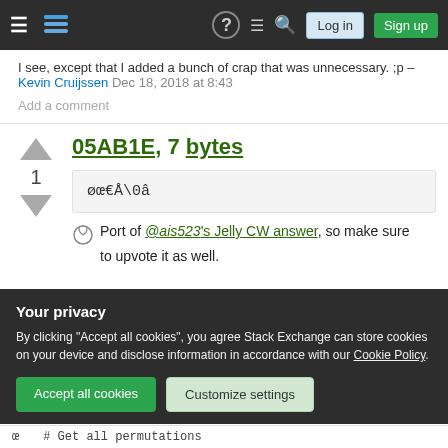Stack Exchange navigation bar with hamburger menu, logo, help, chat, search, Log in, Sign up
I see, except that I added a bunch of crap that was unnecessary. ;p – Kevin Cruijssen Dec 18, 2018 at 8:43
Add a comment
05AB1E, 7 bytes
øœ€Å\0â
Port of @ais523's Jelly CW answer, so make sure to upvote it as well.
Your privacy
By clicking "Accept all cookies", you agree Stack Exchange can store cookies on your device and disclose information in accordance with our Cookie Policy.
Accept all cookies   Customize settings
œ    # Get all permutations